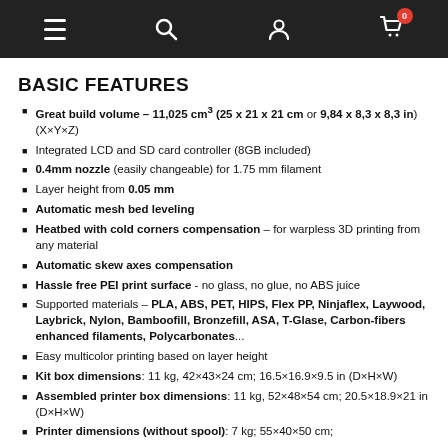Navigation bar with hamburger menu, search, user, and cart (0 items) icons
BASIC FEATURES
Great build volume – 11,025 cm³ (25 x 21 x 21 cm or 9,84 x 8,3 x 8,3 in) (X×Y×Z)
Integrated LCD and SD card controller (8GB included)
0.4mm nozzle (easily changeable) for 1.75 mm filament
Layer height from 0.05 mm
Automatic mesh bed leveling
Heatbed with cold corners compensation – for warpless 3D printing from any material
Automatic skew axes compensation
Hassle free PEI print surface - no glass, no glue, no ABS juice
Supported materials – PLA, ABS, PET, HIPS, Flex PP, Ninjaflex, Laywood, Laybrick, Nylon, Bamboofill, Bronzefill, ASA, T-Glase, Carbon-fibers enhanced filaments, Polycarbonates...
Easy multicolor printing based on layer height
Kit box dimensions: 11 kg, 42×43×24 cm; 16.5×16.9×9.5 in (D×H×W)
Assembled printer box dimensions: 11 kg, 52×48×54 cm; 20.5×18.9×21 in (D×H×W)
Printer dimensions (without spool): 7 kg; 55×40×50 cm;